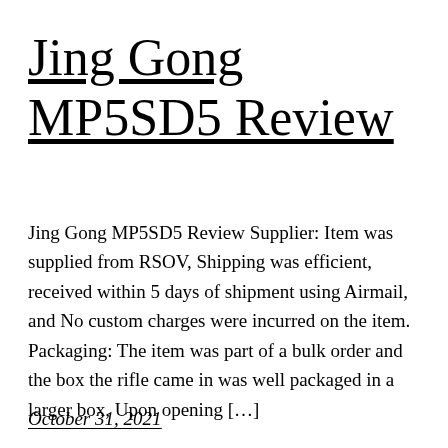Jing Gong MP5SD5 Review
Jing Gong MP5SD5 Review Supplier: Item was supplied from RSOV, Shipping was efficient, received within 5 days of shipment using Airmail, and No custom charges were incurred on the item. Packaging: The item was part of a bulk order and the box the rifle came in was well packaged in a larger box, Upon opening […]
October 31, 2021